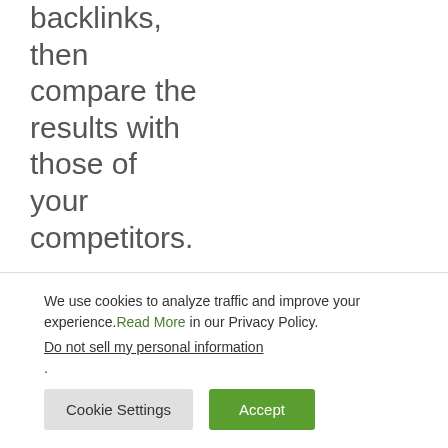backlinks, then compare the results with those of your competitors. Sites that will link to your
We use cookies to analyze traffic and improve your experience. Read More in our Privacy Policy. Do not sell my personal information.